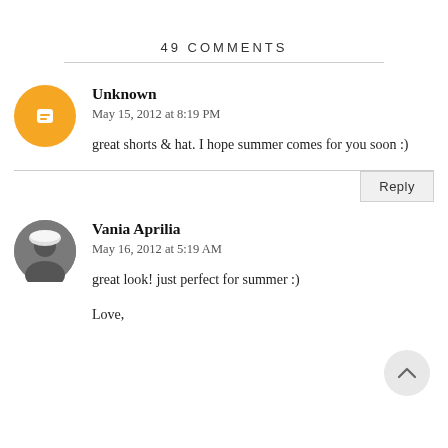49 COMMENTS
Unknown
May 15, 2012 at 8:19 PM

great shorts & hat. I hope summer comes for you soon :)
Vania Aprilia
May 16, 2012 at 5:19 AM

great look! just perfect for summer :)

Love,